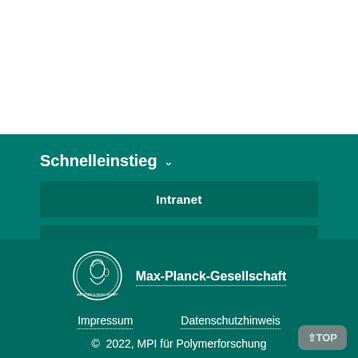Schnelleinstieg ∨
Intranet
Self-Service
[Figure (logo): Max-Planck-Gesellschaft circular coin logo with portrait]
Max-Planck-Gesellschaft
Impressum
Datenschutzhinweis
© 2022, MPI für Polymerforschung